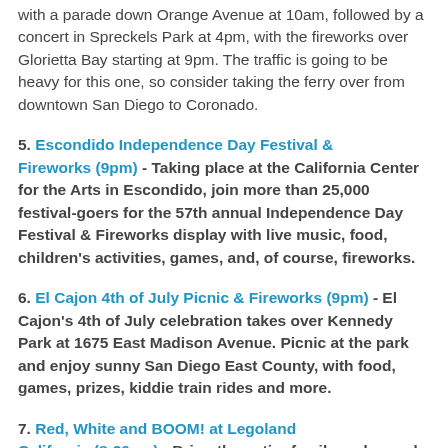with a parade down Orange Avenue at 10am, followed by a concert in Spreckels Park at 4pm, with the fireworks over Glorietta Bay starting at 9pm. The traffic is going to be heavy for this one, so consider taking the ferry over from downtown San Diego to Coronado.
5. Escondido Independence Day Festival & Fireworks (9pm) - Taking place at the California Center for the Arts in Escondido, join more than 25,000 festival-goers for the 57th annual Independence Day Festival & Fireworks display with live music, food, children's activities, games, and, of course, fireworks.
6. El Cajon 4th of July Picnic & Fireworks (9pm) - El Cajon's 4th of July celebration takes over Kennedy Park at 1675 East Madison Avenue. Picnic at the park and enjoy sunny San Diego East County, with food, games, prizes, kiddie train rides and more.
7. Red, White and BOOM! at Legoland California (8:30pm) - Bring the entire family and spend the day enjoying over 60 rides, shows and attractions, as well as